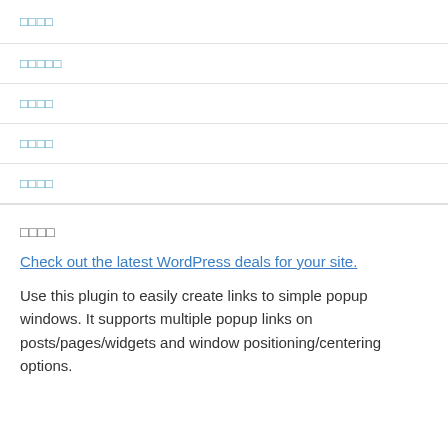□□□□
□□□□□
□□□□
□□□□
□□□□
□□□□
Check out the latest WordPress deals for your site.
Use this plugin to easily create links to simple popup windows. It supports multiple popup links on posts/pages/widgets and window positioning/centering options.